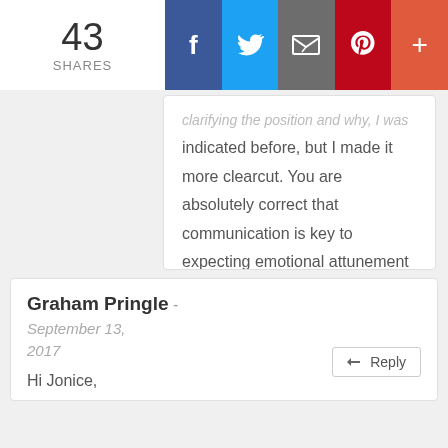[Figure (screenshot): Social sharing bar with 43 shares count and buttons for Facebook, Twitter, Email, Pinterest, and More (+)]
...clarifying the position and why, I was indicated before, but I made it more clearcut. You are absolutely correct that communication is key to expecting emotional attunement from someone. No one can expect to have their mind read!
Graham Pringle - September 13, 2017
Hi Jonice,